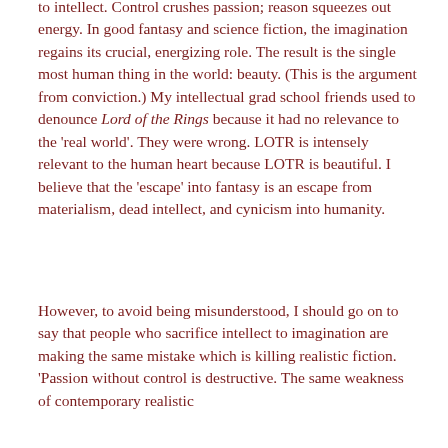to intellect. Control crushes passion; reason squeezes out energy. In good fantasy and science fiction, the imagination regains its crucial, energizing role. The result is the single most human thing in the world: beauty. (This is the argument from conviction.) My intellectual grad school friends used to denounce Lord of the Rings because it had no relevance to the 'real world'. They were wrong. LOTR is intensely relevant to the human heart because LOTR is beautiful. I believe that the 'escape' into fantasy is an escape from materialism, dead intellect, and cynicism into humanity.
However, to avoid being misunderstood, I should go on to say that people who sacrifice intellect to imagination are making the same mistake which is killing realistic fiction. 'Passion without control is destructive. The same weakness of contemporary realistic fiction that we are criticizing is at work here too, but in a different form.'